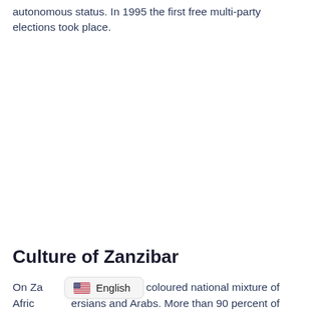autonomous status. In 1995 the first free multi-party elections took place.
Culture of Zanzibar
On Za...periences a coloured national mixture of Afric...ersians and Arabs. More than 90 percent of